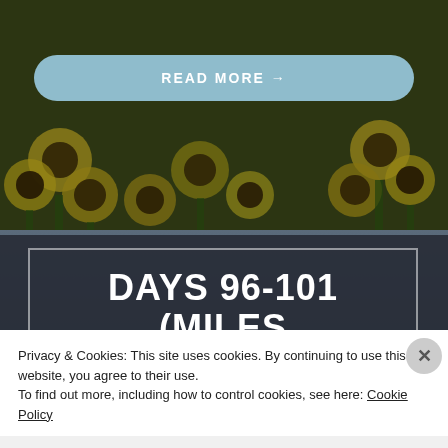[Figure (photo): Background photo of yellow sunflowers in a garden, dark olive/green tones with dark overlay]
READ MORE →
DAYS 96-101 (MILES 1817.2-1893.6)
Privacy & Cookies: This site uses cookies. By continuing to use this website, you agree to their use.
To find out more, including how to control cookies, see here: Cookie Policy
Close and accept